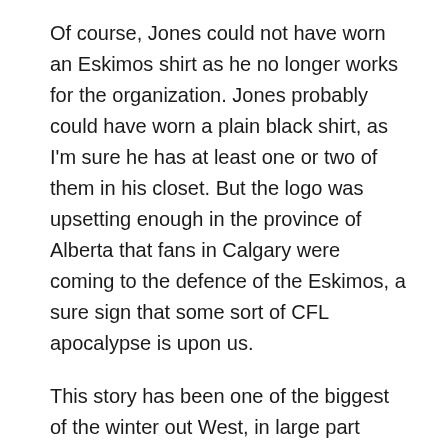Of course, Jones could not have worn an Eskimos shirt as he no longer works for the organization. Jones probably could have worn a plain black shirt, as I'm sure he has at least one or two of them in his closet. But the logo was upsetting enough in the province of Alberta that fans in Calgary were coming to the defence of the Eskimos, a sure sign that some sort of CFL apocalypse is upon us.
This story has been one of the biggest of the winter out West, in large part because it involves two of the league's strongest fan bases. It's kept the league front and centre during the long stretch between free agency and the opening of training camps when CFL news can be hard to come by.
The league could have further capitalized on the rekindled rivalry by having the teams square off to open the season, preferably in Edmonton. The CFL prefers a Grey Cup rematch open the season, though the Redblacks contest